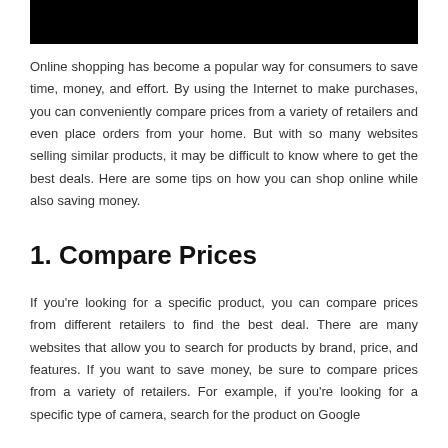[Figure (other): Black rectangular banner/header image at top of page]
Online shopping has become a popular way for consumers to save time, money, and effort. By using the Internet to make purchases, you can conveniently compare prices from a variety of retailers and even place orders from your home. But with so many websites selling similar products, it may be difficult to know where to get the best deals. Here are some tips on how you can shop online while also saving money.
1. Compare Prices
If you're looking for a specific product, you can compare prices from different retailers to find the best deal. There are many websites that allow you to search for products by brand, price, and features. If you want to save money, be sure to compare prices from a variety of retailers. For example, if you're looking for a specific type of camera, search for the product on Google